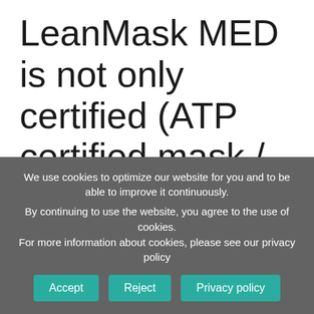LeanMask MED is not only certified (ATP certified mask / FFP2 filter certified by Nelson Laboratories), but thanks to its thin lips, it
We use cookies to optimize our website for you and to be able to improve it continuously.
By continuing to use the website, you agree to the use of cookies.
For more information about cookies, please see our privacy policy